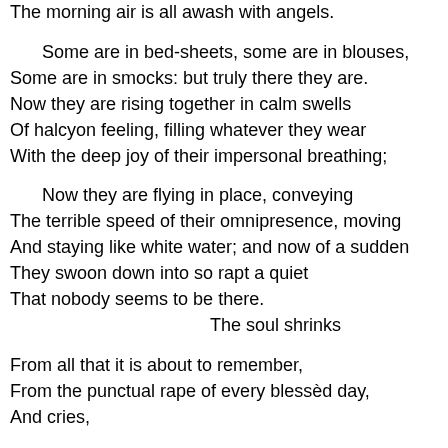The morning air is all awash with angels.

    Some are in bed-sheets, some are in blouses,
Some are in smocks: but truly there they are.
Now they are rising together in calm swells
Of halcyon feeling, filling whatever they wear
With the deep joy of their impersonal breathing;

    Now they are flying in place, conveying
The terrible speed of their omnipresence, moving
And staying like white water; and now of a sudden
They swoon down into so rapt a quiet
That nobody seems to be there.
                                        The soul shrinks

From all that it is about to remember,
From the punctual rape of every blessèd day,
And cries,